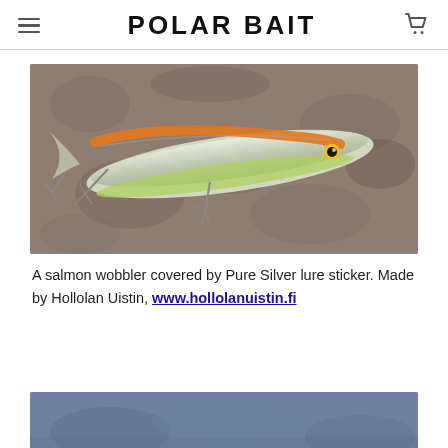POLAR BAIT
[Figure (photo): A silver salmon wobbler fishing lure with orange stripe on top and green-yellow belly, placed on a rocky granite surface. The lure has treble hooks and a golden eye detail. Made by Hollolan Uistin, covered by Pure Silver lure sticker.]
A salmon wobbler covered by Pure Silver lure sticker. Made by Hollolan Uistin, www.hollolanuistin.fi
[Figure (photo): Partial view of another fishing lure or bait item, visible at the bottom of the page.]